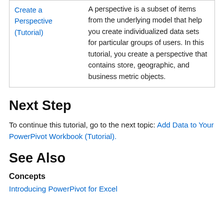| Create a Perspective (Tutorial) | A perspective is a subset of items from the underlying model that help you create individualized data sets for particular groups of users. In this tutorial, you create a perspective that contains store, geographic, and business metric objects. |
Next Step
To continue this tutorial, go to the next topic: Add Data to Your PowerPivot Workbook (Tutorial).
See Also
Concepts
Introducing PowerPivot for Excel